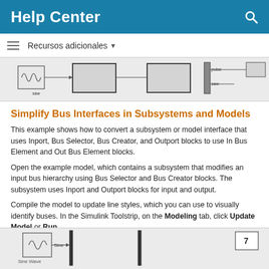Help Center
Recursos adicionales
[Figure (screenshot): Partial Simulink diagram showing a signal source block with 'saw' label, connected to blank subsystem blocks, and a mux block with 'pulse' and 'saw' outputs on the right.]
Simplify Bus Interfaces in Subsystems and Models
This example shows how to convert a subsystem or model interface that uses Inport, Bus Selector, Bus Creator, and Outport blocks to use In Bus Element and Out Bus Element blocks.
Open the example model, which contains a subsystem that modifies an input bus hierarchy using Bus Selector and Bus Creator blocks. The subsystem uses Inport and Outport blocks for input and output.
Compile the model to update line styles, which you can use to visually identify buses. In the Simulink Toolstrip, on the Modeling tab, click Update Model or Run.
[Figure (screenshot): Partial Simulink diagram showing a Sine Wave block connected to a bus line, with a block labeled '7' in the bottom right corner.]